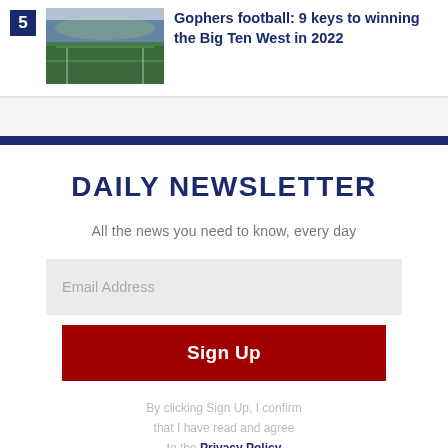[Figure (photo): Stadium photo thumbnail showing a football field with crowd in stands, appears to be an outdoor college football venue.]
Gophers football: 9 keys to winning the Big Ten West in 2022
DAILY NEWSLETTER
All the news you need to know, every day
Email Address
Sign Up
By clicking Sign Up, I confirm that I have read and agree to the Privacy Policy and Terms of Service